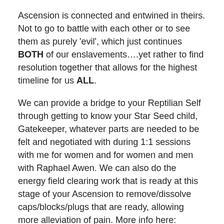Ascension is connected and entwined in theirs. Not to go to battle with each other or to see them as purely 'evil', which just continues BOTH of our enslavements….yet rather to find resolution together that allows for the highest timeline for us ALL.
We can provide a bridge to your Reptilian Self through getting to know your Star Seed child, Gatekeeper, whatever parts are needed to be felt and negotiated with during 1:1 sessions with me for women and for women and men with Raphael Awen. We can also do the energy field clearing work that is ready at this stage of your Ascension to remove/dissolve caps/blocks/plugs that are ready, allowing more alleviation of pain. More info here: soulfullheartwayoflife.com/sessions
Here is a guided meditation with me to music offering Infinite Love codes to every chakra, including the Causal: